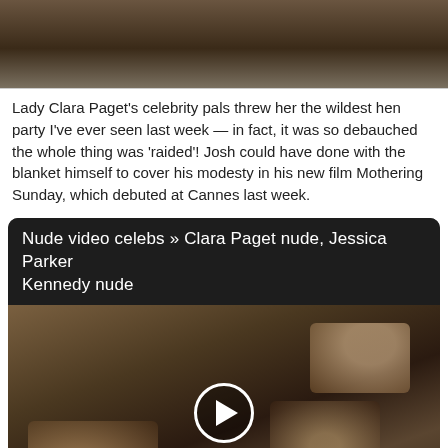[Figure (photo): Dark toned photo, top portion of page]
Lady Clara Paget's celebrity pals threw her the wildest hen party I've ever seen last week — in fact, it was so debauched the whole thing was 'raided'! Josh could have done with the blanket himself to cover his modesty in his new film Mothering Sunday, which debuted at Cannes last week.
[Figure (screenshot): Video thumbnail labeled 'Nude video celebs » Clara Paget nude, Jessica Parker Kennedy nude' with a play button overlay showing two people lying in bed]
However clara has a height of 5 feet 8 inches.